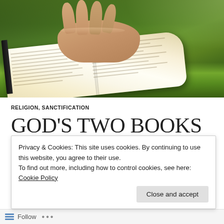[Figure (photo): Person with hands clasped in prayer over an open Bible resting on green moss outdoors]
RELIGION, SANCTIFICATION
GOD'S TWO BOOKS
JULY 10, 2014   2 COMMENTS
Privacy & Cookies: This site uses cookies. By continuing to use this website, you agree to their use. To find out more, including how to control cookies, see here: Cookie Policy
Close and accept
Follow